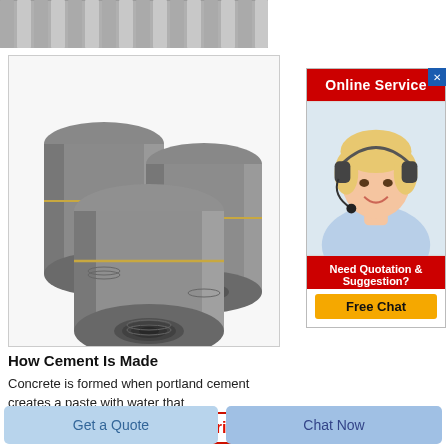[Figure (photo): Partial top view of stacked concrete/cement slabs or planks, grey color, cropped at top]
[Figure (photo): Three large graphite electrodes stacked together, grey cylindrical rods with threaded ends]
How Cement Is Made
Concrete is formed when portland cement creates a paste with water that
Get Price
[Figure (advertisement): Online Service ad panel with red header saying Online Service, photo of smiling blonde woman with headset, red bottom section saying Need Quotation & Suggestion?, and yellow Free Chat button]
Get a Quote
Chat Now